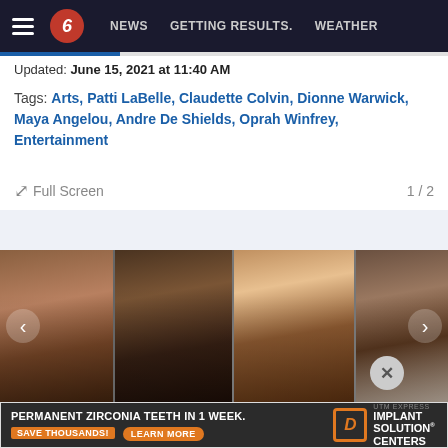NEWS   GETTING RESULTS.   WEATHER
Updated: June 15, 2021 at 11:40 AM
Tags: Arts, Patti LaBelle, Claudette Colvin, Dionne Warwick, Maya Angelou, Andre De Shields, Oprah Winfrey, Entertainment
Full Screen   1 / 2
[Figure (photo): Photo slideshow strip showing four individuals including elderly woman with glasses, elderly man, woman with blonde hair, and woman with white/grey hair. Navigation arrows and 1/2 counter shown.]
[Figure (advertisement): Advertisement for UTM Express Implant Solution Centers. Text reads: PERMANENT ZIRCONIA TEETH IN 1 WEEK. SAVE THOUSANDS! LEARN MORE]